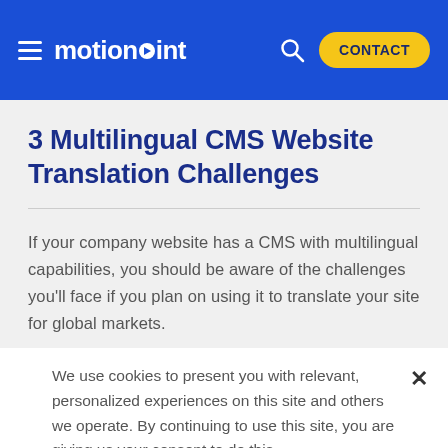motionpoint — CONTACT
3 Multilingual CMS Website Translation Challenges
If your company website has a CMS with multilingual capabilities, you should be aware of the challenges you'll face if you plan on using it to translate your site for global markets.
We use cookies to present you with relevant, personalized experiences on this site and others we operate. By continuing to use this site, you are giving us your consent to do this